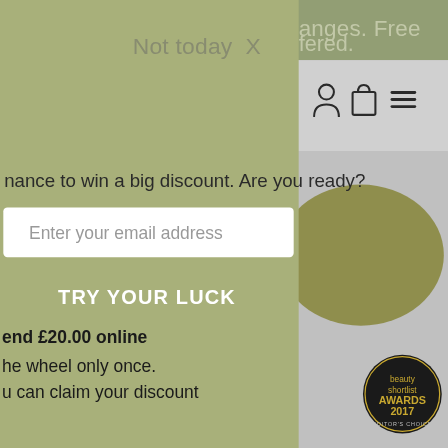[Figure (screenshot): E-commerce website screenshot showing a discount popup modal over a product page. The modal has an olive/sage green background with a 'Not today X' close button, a promotional text about winning a big discount, an email input field, a 'TRY YOUR LUCK' button, and terms text. The underlying website shows navigation icons and a product (green/olive balm tin) with a Beauty Shortlist Awards 2017 Editor's Choice badge.]
Not today  X
anges. Free
fered.
nance to win a big discount. Are you ready?
Enter your email address
TRY YOUR LUCK
end £20.00 online
he wheel only once.
u can claim your discount